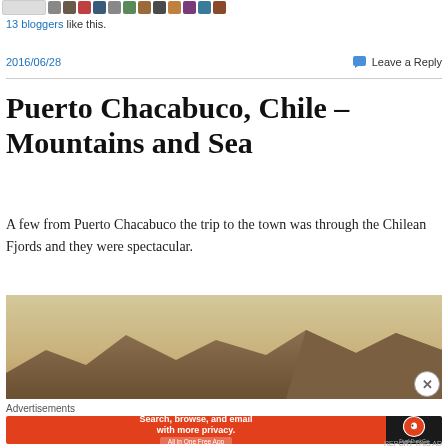[Figure (screenshot): Top strip of small avatar/profile images from bloggers who liked the post, along with a rectangular button on the left.]
13 bloggers like this.
2016/06/28
Leave a Reply
Puerto Chacabuco, Chile – Mountains and Sea
A few from Puerto Chacabuco the trip to the town was through the Chilean Fjords and they were spectacular.
[Figure (photo): Landscape photo showing mountains and a scenic sky, related to Puerto Chacabuco, Chile.]
Advertisements
[Figure (screenshot): DuckDuckGo advertisement banner: 'Search, browse, and email with more privacy. All in One Free App' with DuckDuckGo duck logo on dark background.]